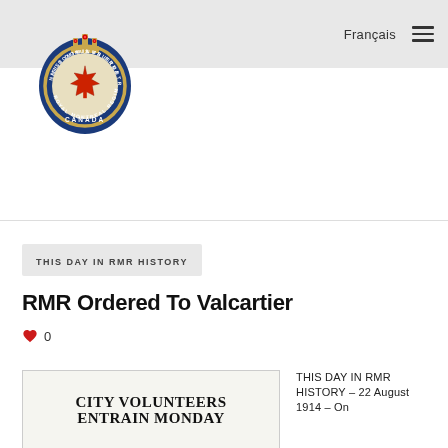Français  ☰
[Figure (logo): Royal Montreal Regiment (RMR) coat of arms / crest logo — crown at top, maple leaf in centre, blue circular band with text, CANADA at bottom]
THIS DAY IN RMR HISTORY
RMR Ordered To Valcartier
♥ 0
[Figure (photo): Black and white newspaper clipping headline reading: CITY VOLUNTEERS ENTRAIN MONDAY]
THIS DAY IN RMR HISTORY – 22 August 1914 – On